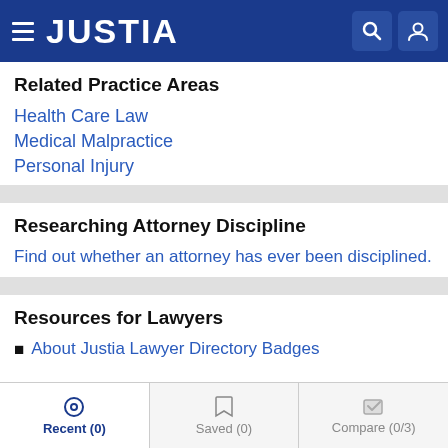JUSTIA
Related Practice Areas
Health Care Law
Medical Malpractice
Personal Injury
Researching Attorney Discipline
Find out whether an attorney has ever been disciplined.
Resources for Lawyers
About Justia Lawyer Directory Badges
Recent (0)  Saved (0)  Compare (0/3)